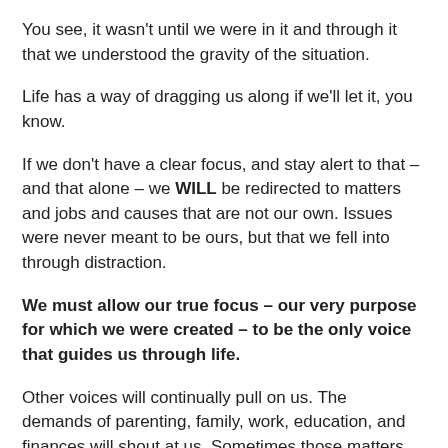You see, it wasn't until we were in it and through it that we understood the gravity of the situation.
Life has a way of dragging us along if we'll let it, you know.
If we don't have a clear focus, and stay alert to that – and that alone – we WILL be redirected to matters and jobs and causes that are not our own. Issues were never meant to be ours, but that we fell into through distraction.
We must allow our true focus – our very purpose for which we were created – to be the only voice that guides us through life.
Other voices will continually pull on us. The demands of parenting, family, work, education, and finances will shout at us. Sometimes those matters will have a crisis of their own, just begging for our attention.
In a restored life, we cultivate and tend to all